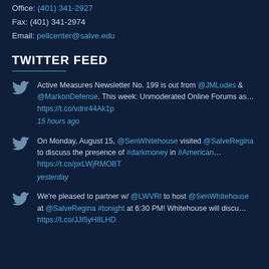Office: (401) 341-2927
Fax: (401) 341-2974
Email: pellcenter@salve.edu
TWITTER FEED
Active Measures Newsletter No. 199 is out from @JMLudes & @MarkonDefense. This week: Unmoderated Online Forums as… https://t.co/vdnr44Ak1p
15 hours ago
On Monday, August 15, @SenWhitehouse visited @SalveRegina to discuss the presence of #darkmoney in #American… https://t.co/pxLWjRMOBT
yesterday
We're pleased to partner w/ @LWVRI to host @SenWhitehouse at @SalveRegina #tonight at 6:30 PM! Whitehouse will discu… https://t.co/JJI5yH8LHD